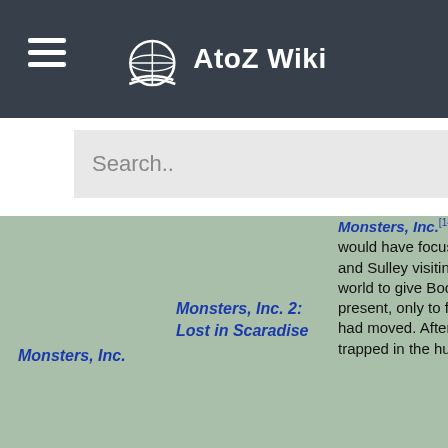AtoZ Wiki
Search..
Monsters, Inc. 2: Lost in Scaradise
Monsters, Inc.
Monsters, Inc.[148] The film would have focused on Mike and Sulley visiting the human world to give Boo a birthday present, only to find that she had moved. After getting trapped in the human world,